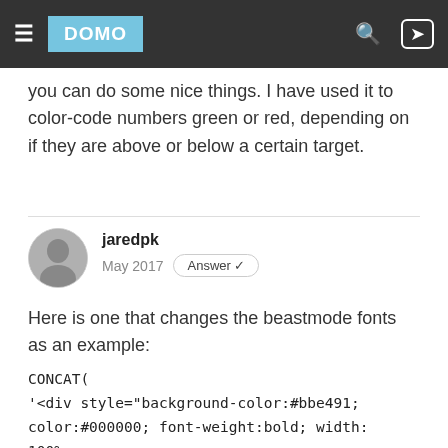DOMO navigation bar with hamburger menu, logo, search and sign-in icons
you can do some nice things. I have used it to color-code numbers green or red, depending on if they are above or below a certain target.
jaredpk
May 2017  Answer ✓
Here is one that changes the beastmode fonts as an example:
CONCAT(
'<div style="background-color:#bbe491; color:#000000; font-weight:bold; width: 100%; height:100%; margin:-20px; padding:20px">', '+$', `WoW Revenue Change`, '